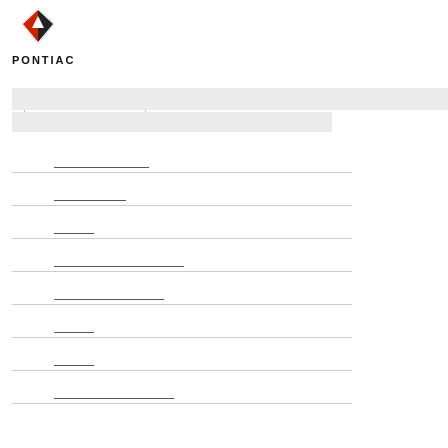[Figure (logo): Pontiac logo with red arrowhead/shield emblem above the text PONTIAC in bold spaced capitals]
Form fields with underline blanks for data entry, arranged in rows with horizontal dividers